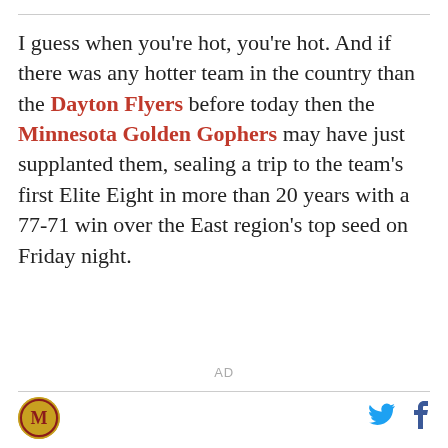I guess when you're hot, you're hot. And if there was any hotter team in the country than the Dayton Flyers before today then the Minnesota Golden Gophers may have just supplanted them, sealing a trip to the team's first Elite Eight in more than 20 years with a 77-71 win over the East region's top seed on Friday night.
AD